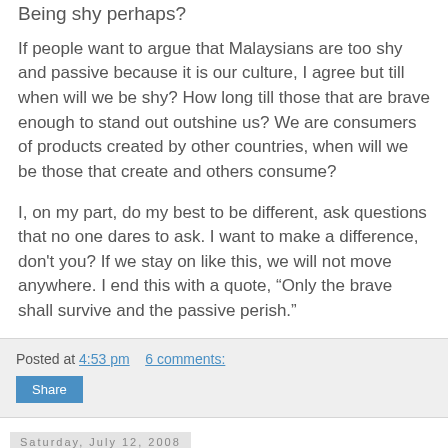Being shy perhaps?
If people want to argue that Malaysians are too shy and passive because it is our culture, I agree but till when will we be shy? How long till those that are brave enough to stand out outshine us? We are consumers of products created by other countries, when will we be those that create and others consume?
I, on my part, do my best to be different, ask questions that no one dares to ask. I want to make a difference, don't you? If we stay on like this, we will not move anywhere. I end this with a quote, “Only the brave shall survive and the passive perish.”
Posted at 4:53 pm   6 comments:
Saturday, July 12, 2008
Introduction to Translation and